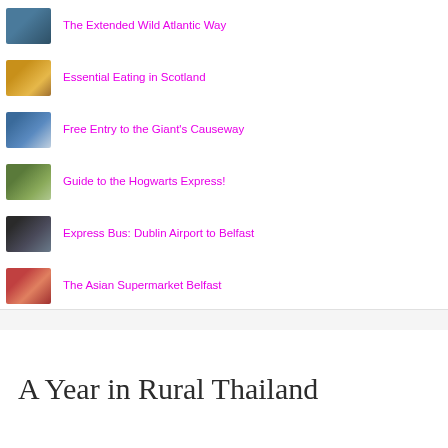The Extended Wild Atlantic Way
Essential Eating in Scotland
Free Entry to the Giant's Causeway
Guide to the Hogwarts Express!
Express Bus: Dublin Airport to Belfast
The Asian Supermarket Belfast
Best National Trust Properties in Northern Ireland
A Year in Rural Thailand